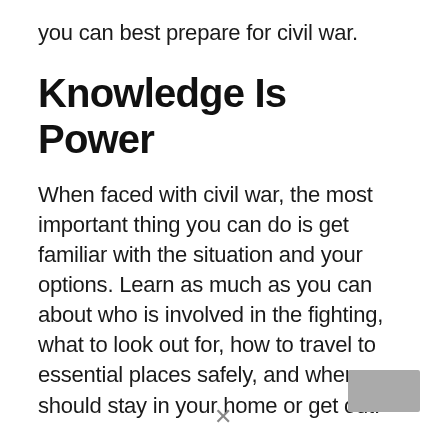you can best prepare for civil war.
Knowledge Is Power
When faced with civil war, the most important thing you can do is get familiar with the situation and your options. Learn as much as you can about who is involved in the fighting, what to look out for, how to travel to essential places safely, and when you should stay in your home or get out.